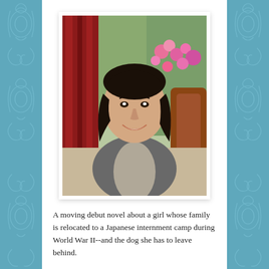[Figure (photo): Portrait photo of a smiling woman with dark shoulder-length hair wearing a grey cardigan over a light top, seated in front of a background showing red curtains and pink flowers.]
A moving debut novel about a girl whose family is relocated to a Japanese internment camp during World War II--and the dog she has to leave behind.